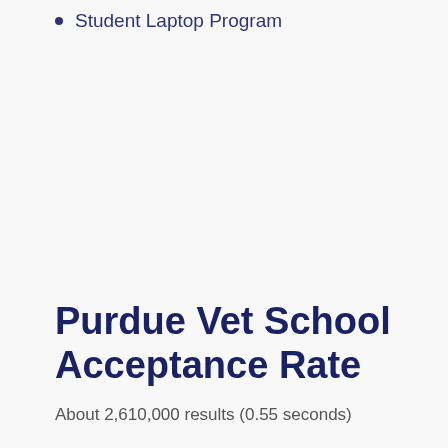Student Laptop Program
Purdue Vet School Acceptance Rate
About 2,610,000 results (0.55 seconds)